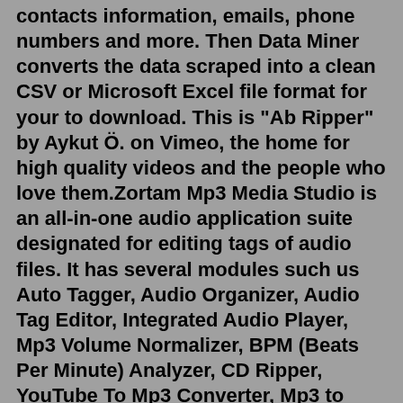contacts information, emails, phone numbers and more. Then Data Miner converts the data scraped into a clean CSV or Microsoft Excel file format for your to download. This is "Ab Ripper" by Aykut Ö. on Vimeo, the home for high quality videos and the people who love them.Zortam Mp3 Media Studio is an all-in-one audio application suite designated for editing tags of audio files. It has several modules such us Auto Tagger, Audio Organizer, Audio Tag Editor, Integrated Audio Player, Mp3 Volume Normalizer, BPM (Beats Per Minute) Analyzer, CD Ripper, YouTube To Mp3 Converter, Mp3 to Wav converter, Auto rename file editor. Step 2. Click Add items and import the pictures or videos you want to burn. You're able to select each of the items, click Remove items to delete it, or click Move down & Move up to arrange the order. Step 3. Click Options on the lower right, and on the DVD option panel, change the DVD playback setting to Play video in a continuous loop, then ...3-Point Ripper has multiple depth settings and is quick and easy to adjust based on your exact